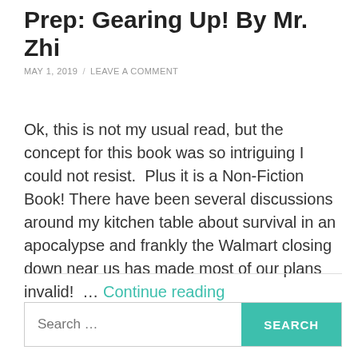Prep: Gearing Up! By Mr. Zhi
MAY 1, 2019 / LEAVE A COMMENT
Ok, this is not my usual read, but the concept for this book was so intriguing I could not resist.  Plus it is a Non-Fiction Book! There have been several discussions around my kitchen table about survival in an apocalypse and frankly the Walmart closing down near us has made most of our plans invalid!  … Continue reading